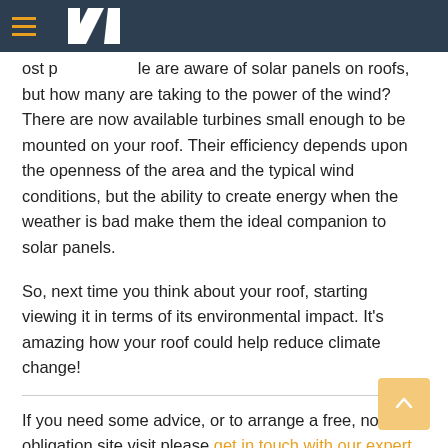[Navigation bar with hamburger menu and logo]
ost people are are of solar panels on roofs, but how many are taking to the power of the wind? There are now available turbines small enough to be mounted on your roof. Their efficiency depends upon the openness of the area and the typical wind conditions, but the ability to create energy when the weather is bad make them the ideal companion to solar panels.
So, next time you think about your roof, starting viewing it in terms of its environmental impact. It's amazing how your roof could help reduce climate change!
If you need some advice, or to arrange a free, no obligation site visit please get in touch with our expert team today.
Posted on 20 February 2020 in Roofing, News and tagged roofing maintenance, roof repairs, london roofing,